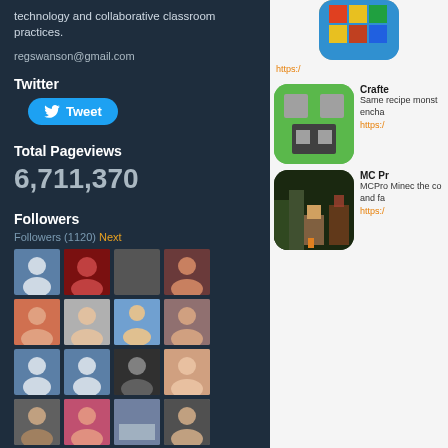technology and collaborative classroom practices.
regswanson@gmail.com
Twitter
Tweet
Total Pageviews
6,711,370
Followers
Followers (1120) Next
[Figure (photo): Grid of follower profile photos and avatars, 4 columns wide]
[Figure (screenshot): Right panel showing app icons and descriptions for Minecraft-related apps with orange links]
Crafte
Same recipe monst encha
https:/
MC Pr
MCPro Minec the co and fa
https:/